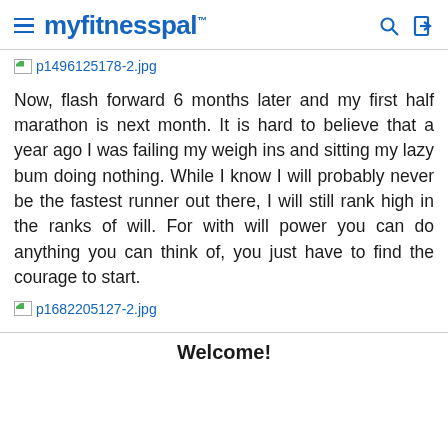myfitnesspal
[Figure (other): Broken image placeholder link: p1496125178-2.jpg]
Now, flash forward 6 months later and my first half marathon is next month. It is hard to believe that a year ago I was failing my weigh ins and sitting my lazy bum doing nothing. While I know I will probably never be the fastest runner out there, I will still rank high in the ranks of will. For with will power you can do anything you can think of, you just have to find the courage to start.
[Figure (other): Broken image placeholder link: p1682205127-2.jpg]
Welcome!